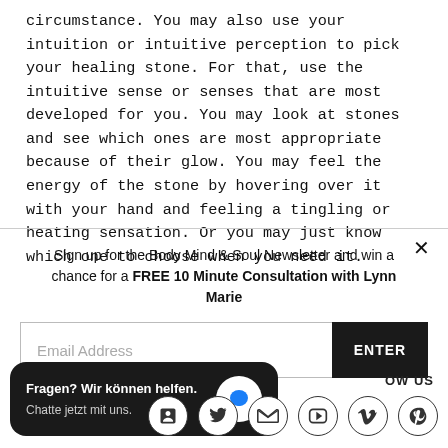circumstance. You may also use your intuition or intuitive perception to pick your healing stone. For that, use the intuitive sense or senses that are most developed for you. You may look at stones and see which ones are most appropriate because of their glow. You may feel the energy of the stone by hovering over it with your hand and feeling a tingling or heating sensation. Or you may just know which one to choose when you need it.
Sign up for the Body Mind & Soul Newsletter and win a chance for a FREE 10 Minute Consultation with Lynn Marie
Email Address
ENTER
Fragen? Wir können helfen. Chatte jetzt mit uns.
OW US